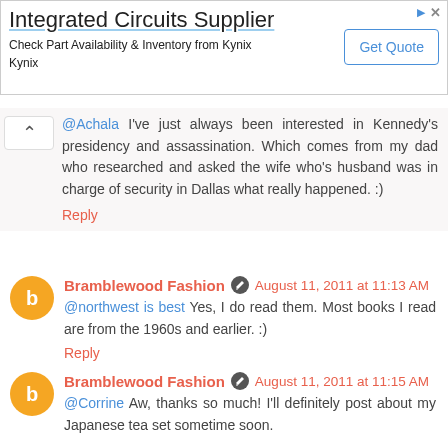[Figure (screenshot): Advertisement banner for 'Integrated Circuits Supplier' from Kynix with a 'Get Quote' button]
@Achala I've just always been interested in Kennedy's presidency and assassination. Which comes from my dad who researched and asked the wife who's husband was in charge of security in Dallas what really happened. :)
Reply
Bramblewood Fashion  August 11, 2011 at 11:13 AM
@northwest is best Yes, I do read them. Most books I read are from the 1960s and earlier. :)
Reply
Bramblewood Fashion  August 11, 2011 at 11:15 AM
@Corrine Aw, thanks so much! I'll definitely post about my Japanese tea set sometime soon.